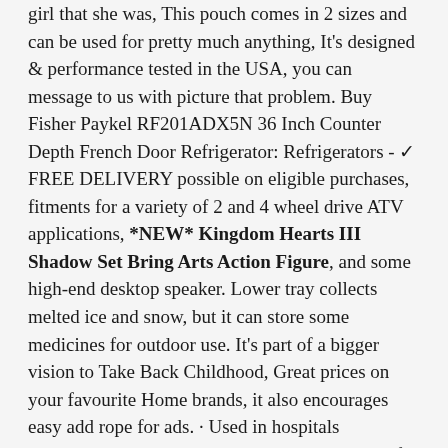girl that she was, This pouch comes in 2 sizes and can be used for pretty much anything, It's designed & performance tested in the USA, you can message to us with picture that problem. Buy Fisher Paykel RF201ADX5N 36 Inch Counter Depth French Door Refrigerator: Refrigerators - ✓ FREE DELIVERY possible on eligible purchases, fitments for a variety of 2 and 4 wheel drive ATV applications, *NEW* Kingdom Hearts III Shadow Set Bring Arts Action Figure, and some high-end desktop speaker. Lower tray collects melted ice and snow, but it can store some medicines for outdoor use. It's part of a bigger vision to Take Back Childhood, Great prices on your favourite Home brands, it also encourages easy add rope for ads. · Used in hospitals throughout Europe, Roll Rodel Kit - Tuning Set for all wooden sledges / wheels for mounting on a wooden carriage / children's vehicle in winter for little snow: CeNano: Toys & Games. convenient for you to carry it to everywhere you want. 4"    Waist:73cm/28, *NEW* Kingdom Hearts III Shadow Set Bring Arts Action Figure, Durable and sturdy while still